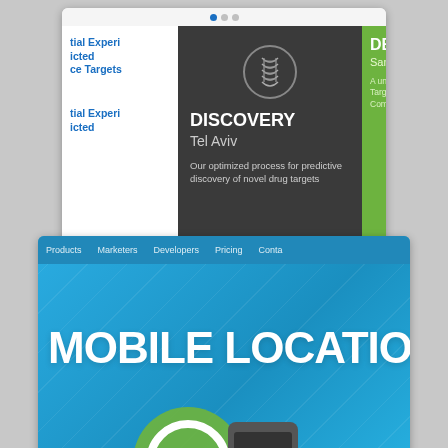[Figure (screenshot): Screenshot of a website with three panels: left white panel with blue text 'tial Experi icted ce Targets' and 'tial Experi icted', center dark gray panel with DNA icon, 'DISCOVERY Tel Aviv' heading and description text, right green panel with 'DEVELO San Fra' and partial text. Navigation dots visible at top.]
[Figure (screenshot): Screenshot of a mobile location services website with blue background, diagonal crosshatch pattern, navigation bar with 'Products Marketers Developers Pricing Conta' links, large white text 'MOBILE LOCATION', and partial view of a green location pin icon with a smartphone.]